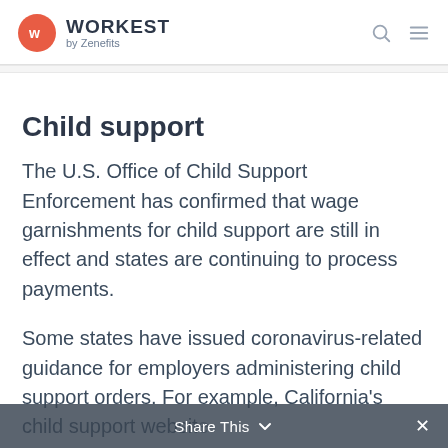WORKEST by Zenefits
Child support
The U.S. Office of Child Support Enforcement has confirmed that wage garnishments for child support are still in effect and states are continuing to process payments.
Some states have issued coronavirus-related guidance for employers administering child support orders. For example, California's child support website
Share This ×